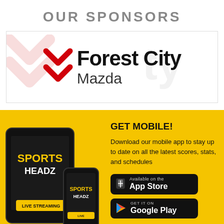OUR SPONSORS
[Figure (logo): Forest City Mazda logo with two red chevron arrows and bold text 'Forest City Mazda']
[Figure (infographic): Yellow section with Sports Headz app on tablet and phone devices, GET MOBILE! headline, description text, App Store and Google Play buttons]
GET MOBILE!
Download our mobile app to stay up to date on all the latest scores, stats, and schedules